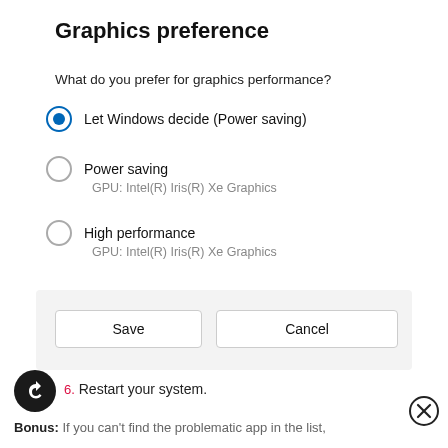Graphics preference
What do you prefer for graphics performance?
Let Windows decide (Power saving) [selected radio]
Power saving
GPU: Intel(R) Iris(R) Xe Graphics
High performance
GPU: Intel(R) Iris(R) Xe Graphics
[Figure (screenshot): Dialog footer with Save and Cancel buttons]
6. Restart your system.
Bonus: If you can't find the problematic app in the list,